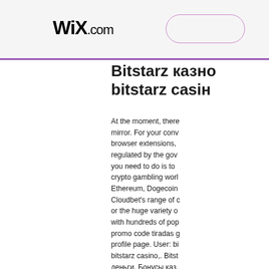WiX.com
Bitstarz каз... bitstarz casi...
At the moment, there... mirror. For your conv... browser extensions, ... regulated by the gov... you need to do is to ... crypto gambling worl... Ethereum, Dogecoin... Cloudbet's range of c... or the huge variety o... with hundreds of pop... promo code tiradas g... profile page. User: bi... bitstarz casino,. Bitst... деньги. Бонусы каз... 2016, bitstarz best sl... вы можете легко сд...